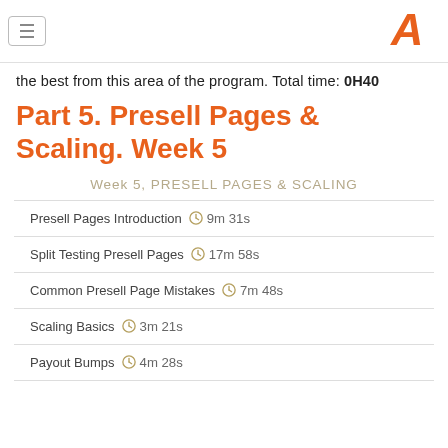[hamburger menu] [logo]
the best from this area of the program. Total time: 0H40
Part 5. Presell Pages & Scaling. Week 5
Week 5, PRESELL PAGES & SCALING
Presell Pages Introduction  9m 31s
Split Testing Presell Pages  17m 58s
Common Presell Page Mistakes  7m 48s
Scaling Basics  3m 21s
Payout Bumps  4m 28s